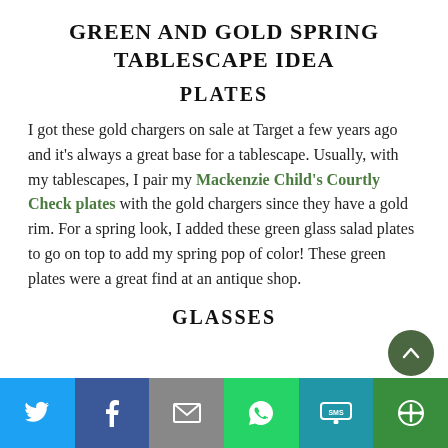GREEN AND GOLD SPRING TABLESCAPE IDEA
PLATES
I got these gold chargers on sale at Target a few years ago and it's always a great base for a tablescape. Usually, with my tablescapes, I pair my Mackenzie Child's Courtly Check plates with the gold chargers since they have a gold rim. For a spring look, I added these green glass salad plates to go on top to add my spring pop of color! These green plates were a great find at an antique shop.
GLASSES